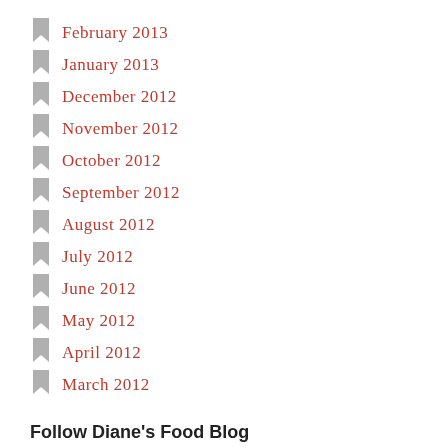February 2013
January 2013
December 2012
November 2012
October 2012
September 2012
August 2012
July 2012
June 2012
May 2012
April 2012
March 2012
Follow Diane's Food Blog
Please enter your email address to follow my blog and receive email notifications of new posts. I won't use your email for